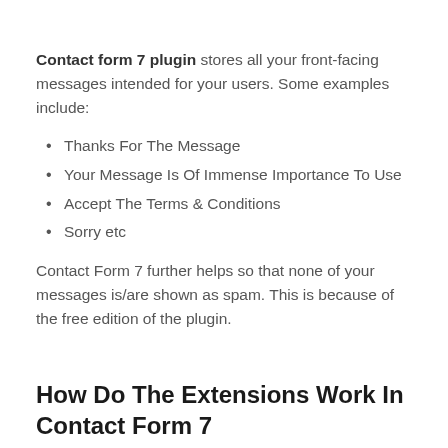Contact form 7 plugin stores all your front-facing messages intended for your users. Some examples include:
Thanks For The Message
Your Message Is Of Immense Importance To Use
Accept The Terms & Conditions
Sorry etc
Contact Form 7 further helps so that none of your messages is/are shown as spam. This is because of the free edition of the plugin.
How Do The Extensions Work In Contact Form 7